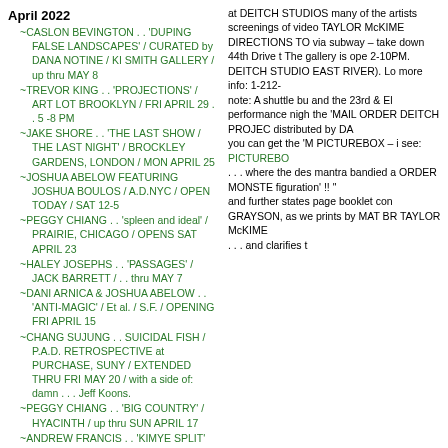April 2022
~CASLON BEVINGTON . . 'DUPING FALSE LANDSCAPES' / CURATED by DANA NOTINE / KI SMITH GALLERY / up thru MAY 8
~TREVOR KING . . 'PROJECTIONS' / ART LOT BROOKLYN / FRI APRIL 29 . . 5 -8 PM
~JAKE SHORE . . 'THE LAST SHOW / THE LAST NIGHT' / BROCKLEY GARDENS, LONDON / MON APRIL 25
~JOSHUA ABELOW FEATURING JOSHUA BOULOS / A.D.NYC / OPEN TODAY / SAT 12-5
~PEGGY CHIANG . . 'spleen and ideal' / PRAIRIE, CHICAGO / OPENS SAT APRIL 23
~HALEY JOSEPHS . . 'PASSAGES' / JACK BARRETT / . . thru MAY 7
~DANI ARNICA & JOSHUA ABELOW . . 'ANTI-MAGIC' / Et al. / S.F. / OPENING FRI APRIL 15
~CHANG SUJUNG . . SUICIDAL FISH / P.A.D. RETROSPECTIVE at PURCHASE, SUNY / EXTENDED THRU FRI MAY 20 / with a side of: damn . . . Jeff Koons.
~PEGGY CHIANG . . 'BIG COUNTRY' / HYACINTH / up thru SUN APRIL 17
~ANDREW FRANCIS . . 'KIMYE SPLIT' SOCKS / A. PFEIFFER McNAY . . LANDSCAPE / P.A.D. RETROSPECTIVE / PURCHASE COLLEGE, SUNY / extended thru FRI MAY 20
March 2022
~No, NO NO . . . Bad, Andy !!
~'POCKET ALFREDO' . . ALFREDO MARTINEZ – THE NOTORIOUS BASQUIAT FORGER !!
~RYAN KITSON . . 'BIG COUNTRY' / HYACINTH GALLERY
~LUKE MURPHY . . . Q & A / SMoCA / FRI MARCH 18 / To-NIGHT !!
~TOM FORKIN . . 'THE ELECTRICIAN' / SOMEDAY / up thru MARCH 19
~NOAH BECKER INTERVIEWS . . ANNA DELVEY !!
~'BIG COUNTRY' . . GROUP SHOW / HYACINTH / OPENS
at DEITCH STUDIOS many of the artists screenings of video TAYLOR McKIME DIRECTIONS TO via subway – take down 44th Drive t The gallery is ope 2-10PM. DEITCH STUDIO EAST RIVER). Lo more info: 1-212- note: A shuttle bu and the 23rd & El performance nigh the 'MAIL ORDER DEITCH PROJEC distributed by DA you can get the 'M PICTUREBOX – i see: PICTUREBO . . . where the des mantra bandied a ORDER MONSTE figuration' !! " and further states page booklet con GRAYSON, as we prints by MAT BR TAYLOR McKIME . . . and clarifies t